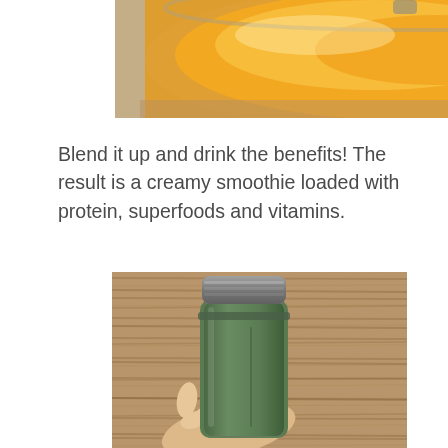[Figure (photo): Top view of a blender with orange/yellow fruit contents being blended, partially cropped at top of page]
Blend it up and drink the benefits! The result is a creamy smoothie loaded with protein, superfoods and vitamins.
[Figure (photo): A hand holding a green smoothie in a portable blender cup with a grey lid, against a wooden background]